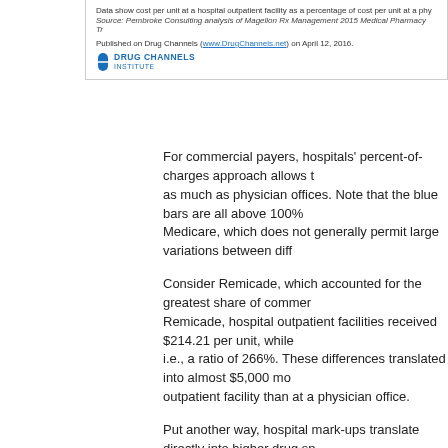Data show cost per unit at a hospital outpatient facility as a percentage of cost per unit at a phy...
Source: Pembroke Consulting analysis of Magellon Rx Management 2015 Medical Pharmacy Tr...
Published on Drug Channels (www.DrugChannels.net) on April 12, 2016.
[Figure (logo): Drug Channels Institute logo with blue pill icon]
For commercial payers, hospitals' percent-of-charges approach allows t... as much as physician offices. Note that the blue bars are all above 100%... Medicare, which does not generally permit large variations between diff...
Consider Remicade, which accounted for the greatest share of commer... Remicade, hospital outpatient facilities received $214.21 per unit, while... i.e., a ratio of 266%. These differences translated into almost $5,000 mo... outpatient facility than at a physician office.
Put another way, hospital mark-ups translate directly into higher drug sp... manufacturers set list prices.
340B: ADDING INSULT TO PRICE GOUGING
But wait—there’s more!
Thanks to the 340B Drug Pricing Program, hospitals receive big discou... purchases, regardless of payer. See 340B Purchases Hit $12 Billion in 2... Hospital Market.
Consequently, there are two more inconvenient facts related to our anal...